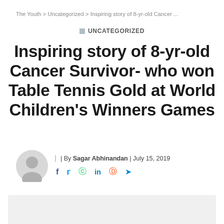The Youth > Uncategorized > Inspiring story of 8-yr-old Cancer ...
Uncategorized
Inspiring story of 8-yr-old Cancer Survivor- who won Table Tennis Gold at World Children’s Winners Games
By Sagar Abhinandan | July 15, 2019
[Figure (other): Light gray placeholder image area at bottom of page]